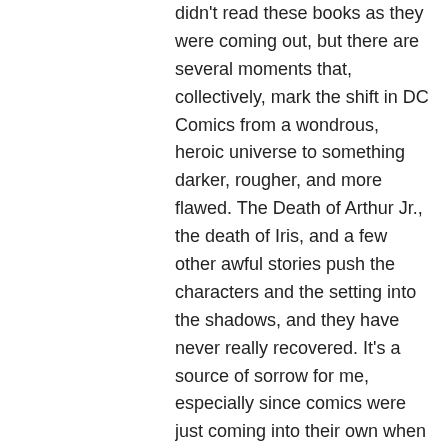didn't read these books as they were coming out, but there are several moments that, collectively, mark the shift in DC Comics from a wondrous, heroic universe to something darker, rougher, and more flawed. The Death of Arthur Jr., the death of Iris, and a few other awful stories push the characters and the setting into the shadows, and they have never really recovered. It's a source of sorrow for me, especially since comics were just coming into their own when these things happened. DC was telling better, more rational stories, characters were growing, and they were just beginning to achieve a balance between wonder, adventure, drama, and humor. I suppose that's why I love Alex Ross' Justice so much. It's the best elements of that era without the silliest bits and without that shift into darkness.
The Riddler is definitely the best entry of those I've seen. That's beautiful, but I really don't care for that costume. I like the modern one a lot better, as it grants Mr. Nygma a bit more dignity, and, genius that he is, he deserves a bit of dignity.
Holy Hannah, y'all are right. Roy Raymond is INCREDIBLY boring, and his stories are a slog. He's the only backup